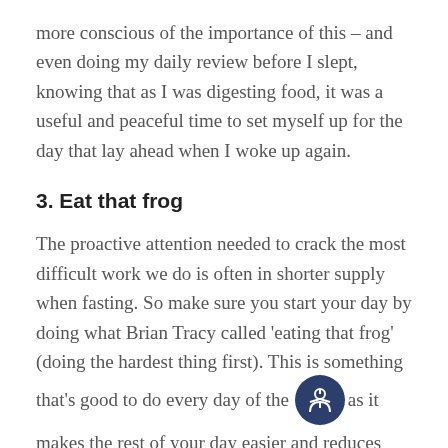more conscious of the importance of this – and even doing my daily review before I slept, knowing that as I was digesting food, it was a useful and peaceful time to set myself up for the day that lay ahead when I woke up again.
3. Eat that frog
The proactive attention needed to crack the most difficult work we do is often in shorter supply when fasting. So make sure you start your day by doing what Brian Tracy called 'eating that frog' (doing the hardest thing first). This is something that's good to do every day of the [accessibility icon] as it makes the rest of your day easier and reduces anxiety, but Ramadan has certainly